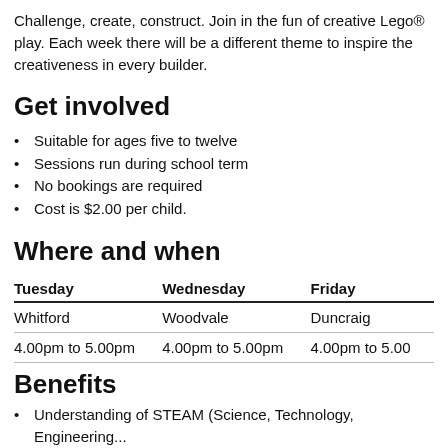Challenge, create, construct. Join in the fun of creative Lego® play. Each week there will be a different theme to inspire the creativeness in every builder.
Get involved
Suitable for ages five to twelve
Sessions run during school term
No bookings are required
Cost is $2.00 per child.
Where and when
| Tuesday | Wednesday | Friday |
| --- | --- | --- |
| Whitford | Woodvale | Duncraig |
| 4.00pm to 5.00pm | 4.00pm to 5.00pm | 4.00pm to 5.00 |
Benefits
Understanding of STEAM (Science, Technology, Engineering...